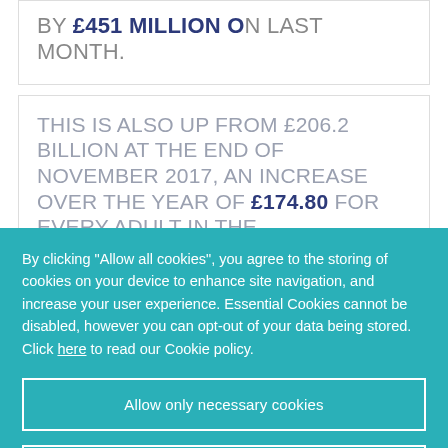BY £451 MILLION ON LAST MONTH.
THIS IS ALSO UP FROM £206.2 BILLION AT THE END OF NOVEMBER 2017, AN INCREASE OVER THE YEAR OF £174.80 FOR EVERY ADULT IN THE
By clicking "Allow all cookies", you agree to the storing of cookies on your device to enhance site navigation, and increase your user experience. Essential Cookies cannot be disabled, however you can opt-out of your data being stored. Click here to read our Cookie policy.
Allow only necessary cookies
Allow all cookies